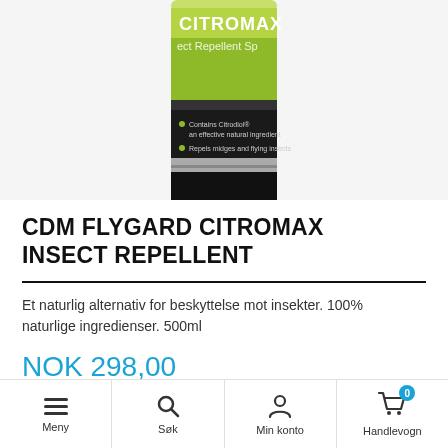[Figure (photo): Citromax Insect Repellent Spray bottle with green label and black bottom cap, partially cropped at top]
CDM FLYGARD CITROMAX INSECT REPELLENT
Et naturlig alternativ for beskyttelse mot insekter. 100% naturlige ingredienser. 500ml
NOK 298,00
inkl. mva.
Meny  Søk  Min konto  Handlevogn